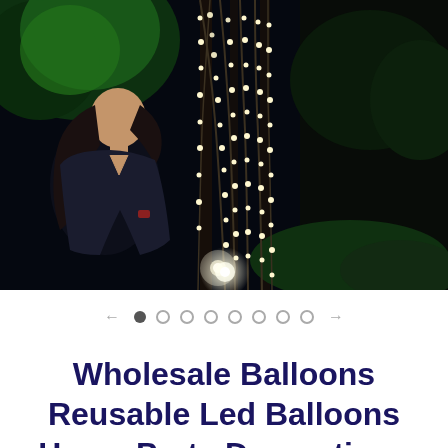[Figure (photo): A woman in a dark top looks upward at hanging string lights with glowing bulbs against a dark night outdoor background with green-lit trees.]
← ● ○ ○ ○ ○ ○ ○ ○ →
Wholesale Balloons Reusable Led Balloons Home Party Decorations